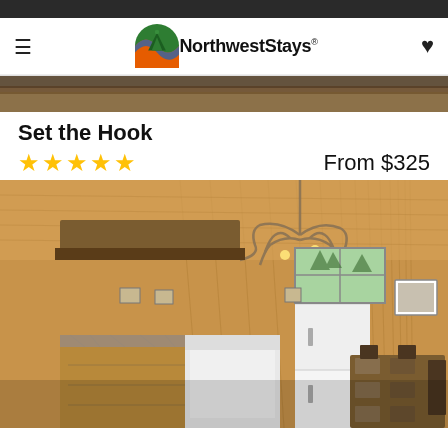NorthwestStays navigation bar
[Figure (photo): Top portion of a cabin or outdoor photo, partially visible as a cropped band]
Set the Hook
★★★★★   From $325
[Figure (photo): Interior of a rustic cabin kitchen and dining area with pine wood walls and ceiling, antler chandelier, white stove and refrigerator, kitchen island with granite countertop, and a dining table set with placemats and chairs]